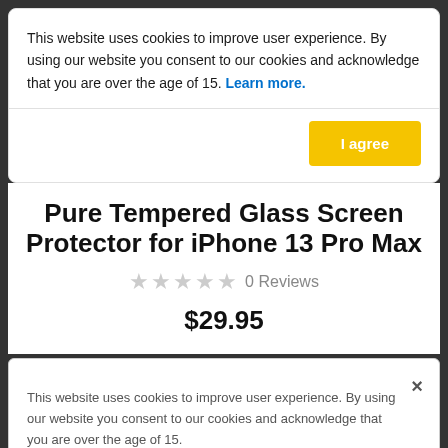This website uses cookies to improve user experience. By using our website you consent to our cookies and acknowledge that you are over the age of 15. Learn more.
I agree
Pure Tempered Glass Screen Protector for iPhone 13 Pro Max
0 Reviews
$29.95
This website uses cookies to improve user experience. By using our website you consent to our cookies and acknowledge that you are over the age of 15.